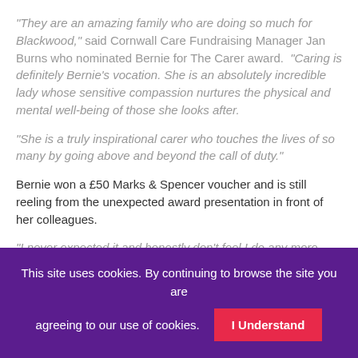“They are an amazing family who are doing so much for Blackwood,” said Cornwall Care Fundraising Manager Jan Burns who nominated Bernie for The Carer award. “Caring is definitely Bernie’s vocation. She is an absolutely incredible lady whose sensitive compassion nurtures the physical and mental well-being of those she looks after.
“She is a truly inspirational carer who touches the lives of so many by going above and beyond the call of duty.”
Bernie won a £50 Marks & Spencer voucher and is still reeling from the unexpected award presentation in front of her colleagues.
“I never expected it and honestly don’t feel I do any more than anyone else,” she said. “We’re a very tight-knit team at Blackwood and we all work very hard to make sure our residents are comfortable and happy.
This site uses cookies. By continuing to browse the site you are agreeing to our use of cookies.